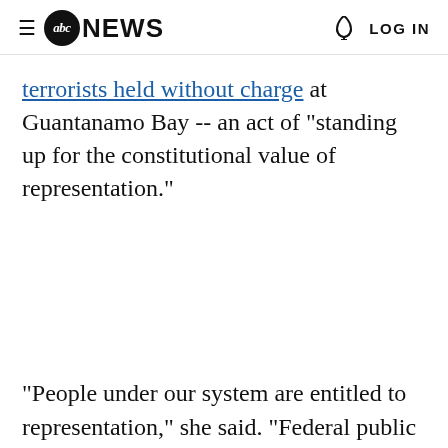≡ abc NEWS  🔔 LOG IN
terrorists held without charge at Guantanamo Bay -- an act of "standing up for the constitutional value of representation."
"People under our system are entitled to representation," she said. "Federal public